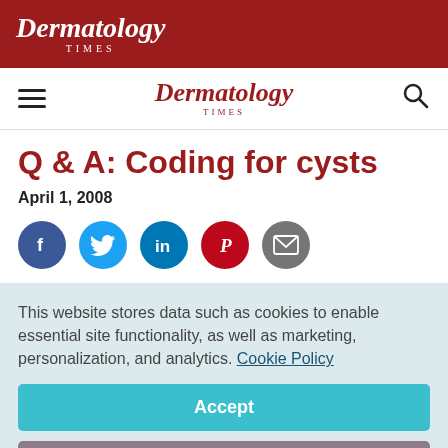[Figure (logo): Dermatology Times logo in white italic text on dark red banner background]
Dermatology Times – navigation bar with hamburger menu, logo, and search icon
Q & A: Coding for cysts
April 1, 2008
[Figure (infographic): Social sharing icons: Facebook (blue), Twitter (light blue), LinkedIn (dark blue), Pinterest (red), Email (grey)]
This website stores data such as cookies to enable essential site functionality, as well as marketing, personalization, and analytics. Cookie Policy
Accept
Deny